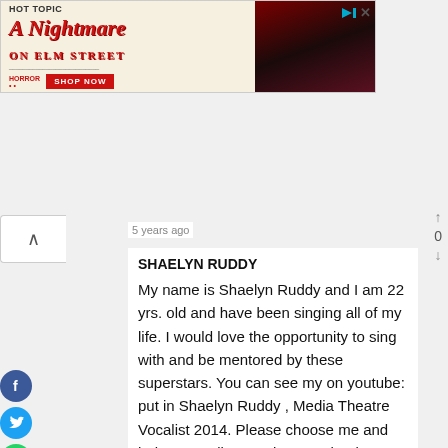[Figure (screenshot): Hot Topic advertisement banner for A Nightmare on Elm Street merchandise with two people in dark clothing and a SHOP NOW button]
5 years ago
SHAELYN RUDDY
My name is Shaelyn Ruddy and I am 22 yrs. old and have been singing all of my life. I would love the opportunity to sing with and be mentored by these superstars. You can see my on youtube: put in Shaelyn Ruddy , Media Theatre Vocalist 2014. Please choose me and help me realize my dreams. thank you